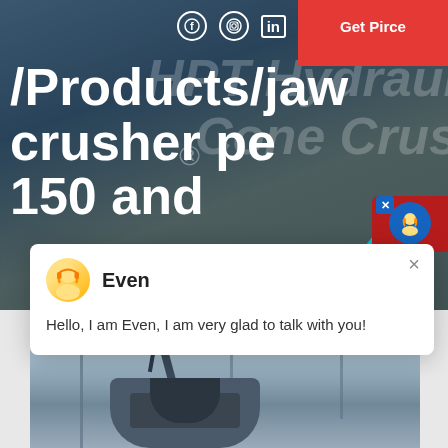Get Pirce
/Products/jaw crusher pe 150 and
[Figure (screenshot): Chat popup widget with avatar of agent named Even saying: Hello, I am Even, I am very glad to talk with you!]
[Figure (photo): Industrial jaw crusher machine photographed inside a factory/warehouse setting]